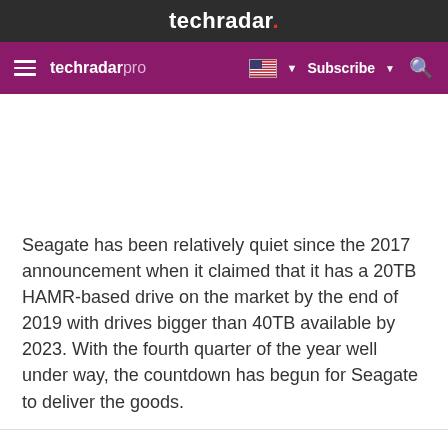techradar.
techradar pro   Subscribe
Seagate has been relatively quiet since the 2017 announcement when it claimed that it has a 20TB HAMR-based drive on the market by the end of 2019 with drives bigger than 40TB available by 2023. With the fourth quarter of the year well under way, the countdown has begun for Seagate to deliver the goods.